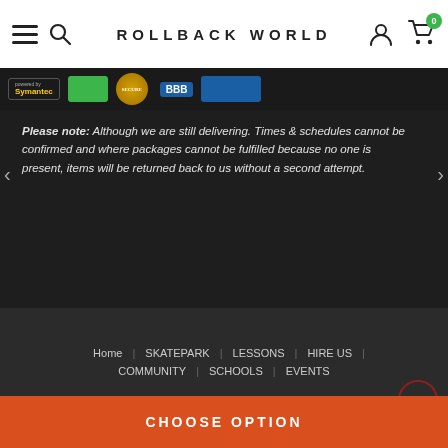ROLLBACK WORLD
[Figure (screenshot): Trust/security badge bar showing Symantec, green badge, gold seal, BBB logo on dark background]
Please note: Although we are still delivering. Times & schedules cannot be confirmed and where packages cannot be fulfilled because no one is present, items will be returned back to us without a second attempt.
Home | SKATEPARK | LESSONS | HIRE US | COMMUNITY | SCHOOLS | EVENTS
© 2022 Nu FOCUS Education CIC t/a RollBack World. All Rights Reserved.
Privacy Policy | Terms of Use | Terms & Conditions |COVID-19 Procedure | Warranties